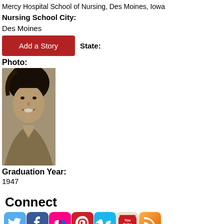Mercy Hospital School of Nursing, Des Moines, Iowa
Nursing School City:
Des Moines
Add a Story
State:
Photo:
[Figure (photo): Black and white portrait photo of a young woman smiling, wearing a light-colored jacket, vintage style from approximately 1947]
Graduation Year:
1947
Connect
[Figure (infographic): Row of social media icons: Twitter, Facebook, Flickr, Pinterest, Vimeo, YouTube, RSS feed]